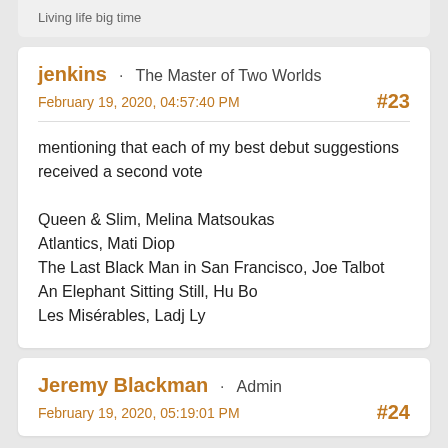Living life big time
jenkins · The Master of Two Worlds
February 19, 2020, 04:57:40 PM
#23
mentioning that each of my best debut suggestions received a second vote

Queen & Slim, Melina Matsoukas
Atlantics, Mati Diop
The Last Black Man in San Francisco, Joe Talbot
An Elephant Sitting Still, Hu Bo
Les Misérables, Ladj Ly
Jeremy Blackman · Admin
February 19, 2020, 05:19:01 PM
#24